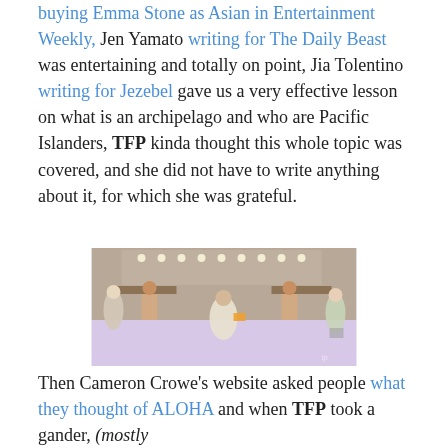buying Emma Stone as Asian in Entertainment Weekly, Jen Yamato writing for The Daily Beast was entertaining and totally on point, Jia Tolentino writing for Jezebel gave us a very effective lesson on what is an archipelago and who are Pacific Islanders, TFP kinda thought this whole topic was covered, and she did not have to write anything about it, for which she was grateful.
[Figure (photo): A scene from what appears to be a TV show or film set in a dressing room with vanity mirrors lined with lights. Several people are visible: an older woman in a floral dress on the left, two shirtless men in underwear seated at the sides, a person in a white costume dancing/posing in the center holding something orange, and a person in a floral dress on the right near a walker.]
Then Cameron Crowe's website asked people what they thought of ALOHA and when TFP took a gander, (mostly